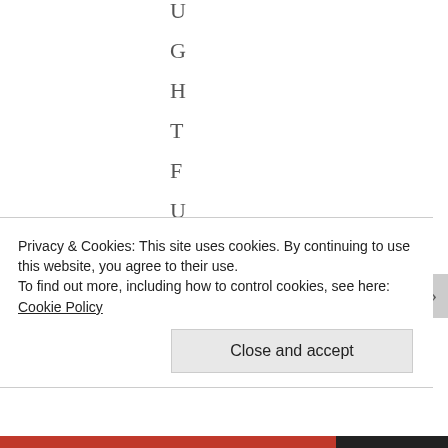U
G
H
T
F
U
L
.
W
E
Privacy & Cookies: This site uses cookies. By continuing to use this website, you agree to their use. To find out more, including how to control cookies, see here: Cookie Policy
Close and accept